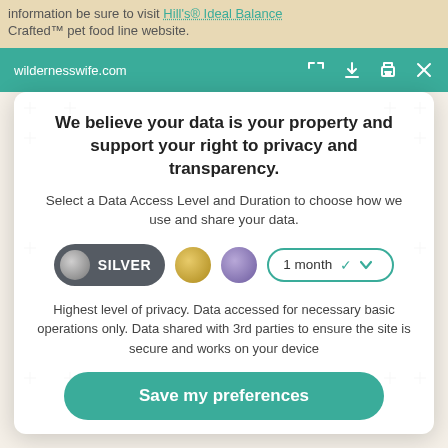information be sure to visit Hill's® Ideal Balance Crafted™ pet food line website.
[Figure (screenshot): Browser address bar showing wildernesswife.com with teal background and icons (expand, download, print, close)]
We believe your data is your property and support your right to privacy and transparency.
Select a Data Access Level and Duration to choose how we use and share your data.
[Figure (infographic): Data access level selector showing: Silver pill button (selected, dark grey), Gold circle button, Purple circle button, and 1 month dropdown]
Highest level of privacy. Data accessed for necessary basic operations only. Data shared with 3rd parties to ensure the site is secure and works on your device
Save my preferences
Customize
Privacy policy